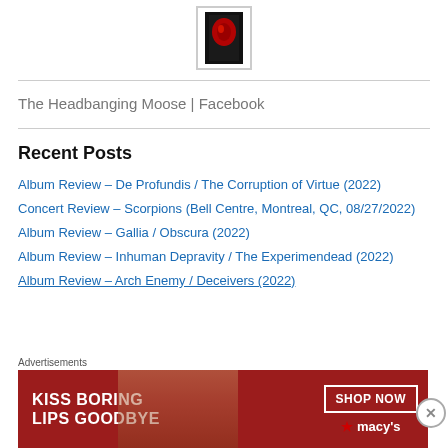[Figure (logo): The Headbanging Moose logo — tall narrow rectangle with red and black design on white background with gray border]
The Headbanging Moose | Facebook
Recent Posts
Album Review – De Profundis / The Corruption of Virtue (2022)
Concert Review – Scorpions (Bell Centre, Montreal, QC, 08/27/2022)
Album Review – Gallia / Obscura (2022)
Album Review – Inhuman Depravity / The Experimendead (2022)
Album Review – Arch Enemy / Deceivers (2022)
Advertisements
[Figure (photo): Macy's advertisement banner: 'KISS BORING LIPS GOODBYE' with SHOP NOW button, featuring a woman with red lips]